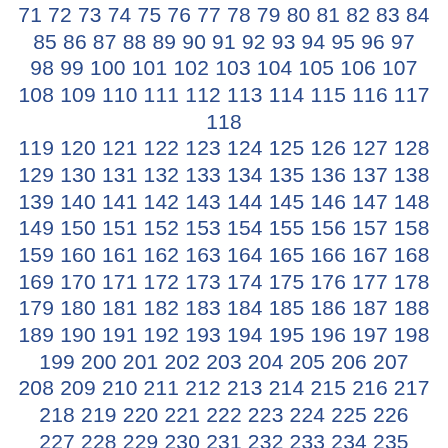71 72 73 74 75 76 77 78 79 80 81 82 83 84 85 86 87 88 89 90 91 92 93 94 95 96 97 98 99 100 101 102 103 104 105 106 107 108 109 110 111 112 113 114 115 116 117 118 119 120 121 122 123 124 125 126 127 128 129 130 131 132 133 134 135 136 137 138 139 140 141 142 143 144 145 146 147 148 149 150 151 152 153 154 155 156 157 158 159 160 161 162 163 164 165 166 167 168 169 170 171 172 173 174 175 176 177 178 179 180 181 182 183 184 185 186 187 188 189 190 191 192 193 194 195 196 197 198 199 200 201 202 203 204 205 206 207 208 209 210 211 212 213 214 215 216 217 218 219 220 221 222 223 224 225 226 227 228 229 230 231 232 233 234 235 236 237 238 239 240 241 242 243 244 245 246 247 248 249 250 251 252 253 254 255 256 257 258 259 260 261 262 263 264 265 266 267 268 269 270 271 272 273 274 275 276 277 278 279 280 281 282 283 284 285 286 287 288 289